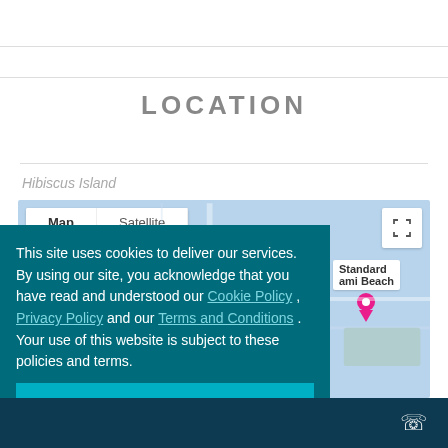LOCATION
Hibiscus Island
[Figure (map): Google Map showing Hibiscus Island area with Map/Satellite tabs and a location pin labeled 'Standard ami Beach']
This site uses cookies to deliver our services. By using our site, you acknowledge that you have read and understood our Cookie Policy , Privacy Policy and our Terms and Conditions . Your use of this website is subject to these policies and terms.
Got it!